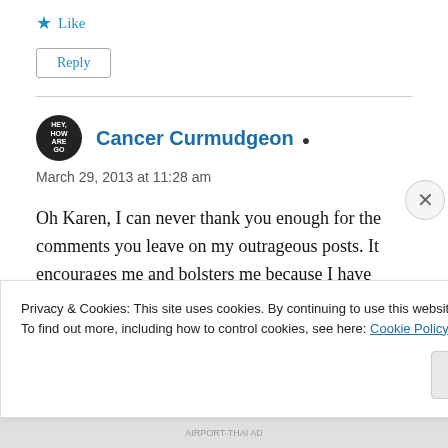★ Like
Reply
Cancer Curmudgeon
March 29, 2013 at 11:28 am
Oh Karen, I can never thank you enough for the comments you leave on my outrageous posts. It encourages me and bolsters me because I have
Privacy & Cookies: This site uses cookies. By continuing to use this website, you agree to their use.
To find out more, including how to control cookies, see here: Cookie Policy
Close and accept